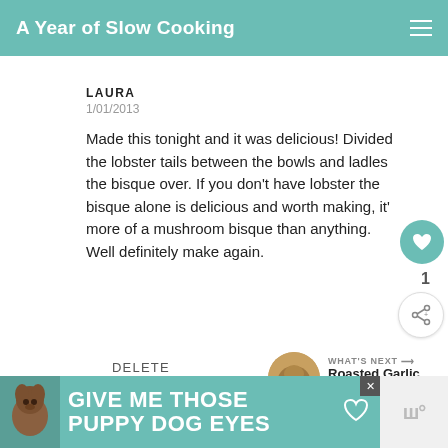A Year of Slow Cooking
LAURA
1/01/2013
Made this tonight and it was delicious! Divided the lobster tails between the bowls and ladles the bisque over. If you don't have lobster the bisque alone is delicious and worth making, it' more of a mushroom bisque than anything. Well definitely make again.
1
DELETE
WHAT'S NEXT → Roasted Garlic in the...
[Figure (photo): Roasted garlic thumbnail image]
[Figure (photo): GIVE ME THOSE PUPPY DOG EYES advertisement banner with a dog photo]